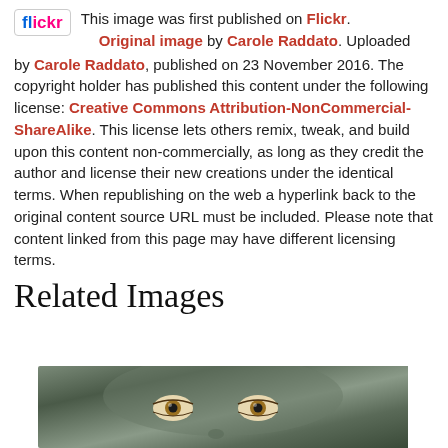This image was first published on Flickr. Original image by Carole Raddato. Uploaded by Carole Raddato, published on 23 November 2016. The copyright holder has published this content under the following license: Creative Commons Attribution-NonCommercial-ShareAlike. This license lets others remix, tweak, and build upon this content non-commercially, as long as they credit the author and license their new creations under the identical terms. When republishing on the web a hyperlink back to the original content source URL must be included. Please note that content linked from this page may have different licensing terms.
Related Images
[Figure (photo): Close-up photo of a classical sculpture face showing detailed eyes with realistic pupils, in muted green-grey tones.]